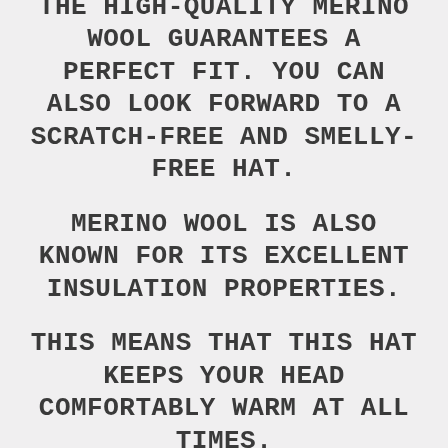THE HIGH-QUALITY MERINO WOOL GUARANTEES A PERFECT FIT. YOU CAN ALSO LOOK FORWARD TO A SCRATCH-FREE AND SMELLY-FREE HAT.
MERINO WOOL IS ALSO KNOWN FOR ITS EXCELLENT INSULATION PROPERTIES.
THIS MEANS THAT THIS HAT KEEPS YOUR HEAD COMFORTABLY WARM AT ALL TIMES.